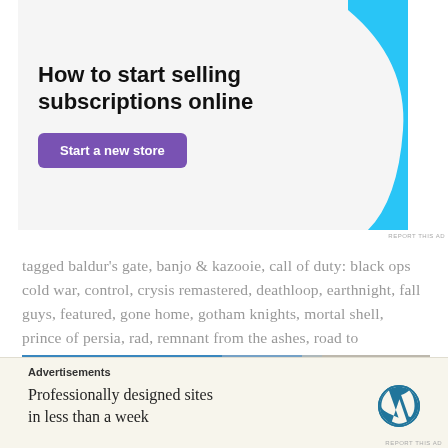[Figure (infographic): Advertisement banner: 'How to start selling subscriptions online' with a purple 'Start a new store' button and a light blue decorative shape on the right]
tagged baldur's gate, banjo & kazooie, call of duty: black ops cold war, control, crysis remastered, deathloop, earthnight, fall guys, featured, gone home, gotham knights, mortal shell, prince of persia, rad, remnant from the ashes, road to guangdong, suicide squad, thomas was alone, warzone      leave a comment
[Figure (photo): Partial photo of an outdoor scene with blue sky, clouds, and some structures or ride, partially visible]
Advertisements
[Figure (infographic): WordPress advertisement: 'Professionally designed sites in less than a week' with WordPress logo on cream background]